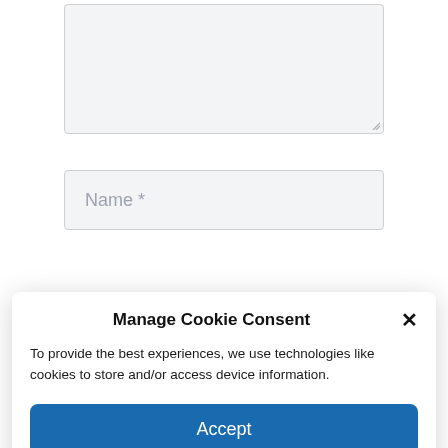[Figure (screenshot): Partially visible textarea form field with resize handle at bottom-right]
[Figure (screenshot): Partially visible Name input field with placeholder text 'Name *']
Manage Cookie Consent
To provide the best experiences, we use technologies like cookies to store and/or access device information.
Accept
Deny
View preferences
Cookie Policy